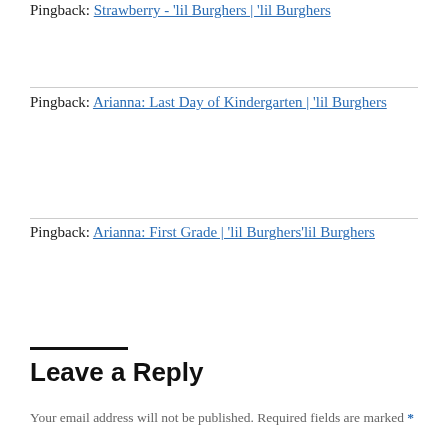Pingback: Strawberry - 'lil Burghers | 'lil Burghers
Pingback: Arianna: Last Day of Kindergarten | 'lil Burghers
Pingback: Arianna: First Grade | 'lil Burghers'lil Burghers
Leave a Reply
Your email address will not be published. Required fields are marked *